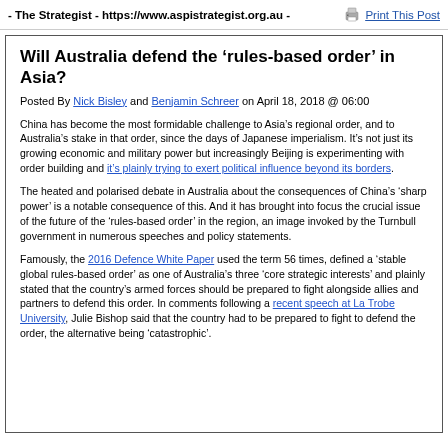- The Strategist - https://www.aspistrategist.org.au -   Print This Post
Will Australia defend the ‘rules-based order’ in Asia?
Posted By Nick Bisley and Benjamin Schreer on April 18, 2018 @ 06:00
China has become the most formidable challenge to Asia’s regional order, and to Australia’s stake in that order, since the days of Japanese imperialism. It’s not just its growing economic and military power but increasingly Beijing is experimenting with order building and it’s plainly trying to exert political influence beyond its borders.
The heated and polarised debate in Australia about the consequences of China’s ‘sharp power’ is a notable consequence of this. And it has brought into focus the crucial issue of the future of the ‘rules-based order’ in the region, an image invoked by the Turnbull government in numerous speeches and policy statements.
Famously, the 2016 Defence White Paper used the term 56 times, defined a ‘stable global rules-based order’ as one of Australia’s three ‘core strategic interests’ and plainly stated that the country’s armed forces should be prepared to fight alongside allies and partners to defend this order. In comments following a recent speech at La Trobe University, Julie Bishop said that the country had to be prepared to fight to defend the order, the alternative being ‘catastrophic’.